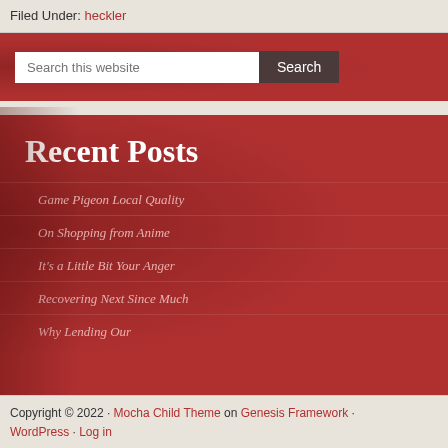Filed Under: heckler
[Figure (screenshot): Search bar with text input 'Search this website' and a dark 'Search' button on a red background]
Recent Posts
Game Pigeon Local Quality
On Shopping from Anime
It's a Little Bit Your Anger
Recovering Next Since Much
Why Lending Our
Copyright © 2022 · Mocha Child Theme on Genesis Framework · WordPress · Log in